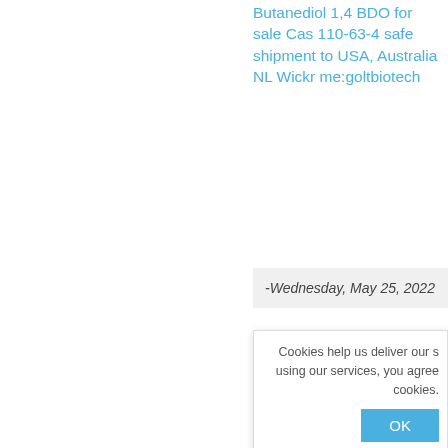Butanediol 1,4 BDO for sale Cas 110-63-4 safe shipment to USA, Australia NL Wickr me:goltbiotech
-Wednesday, May 25, 2022
Wickr me:goltbiotech Whatsapp/telegram +8615389281203 Product name: 1,4-Butanediol CAS No.: 110-63-4 Other Names: 1,4-BUTYLENE GLYCOL; 1,4-BUTANEDIOL; 1,4-
Cookies help us deliver our s using our services, you agree cookies.